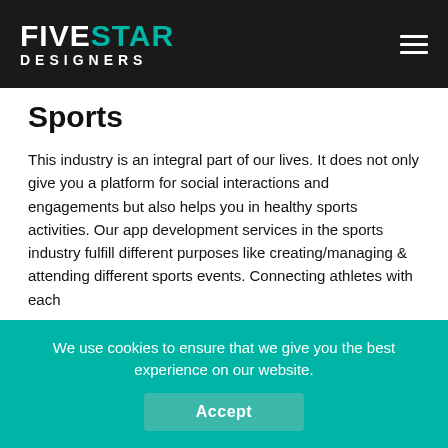[Figure (logo): Five Star Designers logo with FIVE in white and STAR in teal, DESIGNERS in white smaller text below, on dark background]
Sports
This industry is an integral part of our lives. It does not only give you a platform for social interactions and engagements but also helps you in healthy sports activities. Our app development services in the sports industry fulfill different purposes like creating/managing & attending different sports events. Connecting athletes with each
We use cookies to ensure that we give you the best experience on our website.
Accept